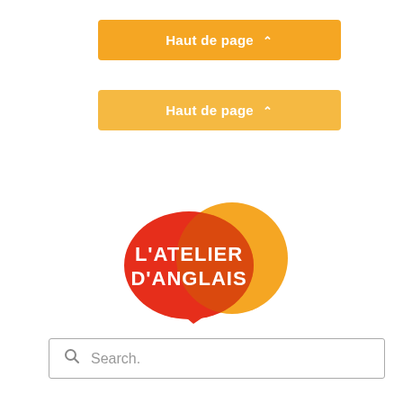[Figure (logo): Orange button with text 'Haut de page' and upward caret arrow]
[Figure (logo): Orange button with text 'Haut de page' and upward caret arrow]
[Figure (logo): L'Atelier d'Anglais logo: red speech bubble overlapping orange circle with white bold text]
Search.